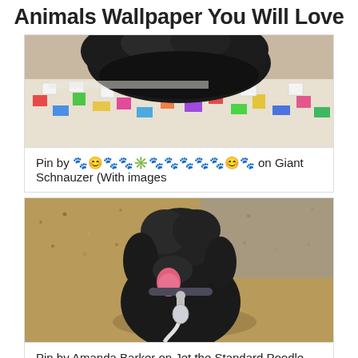Animals Wallpaper You Will Love
[Figure (photo): Black fluffy dog (Giant Schnauzer) lying on a colorful mosaic floor, viewed from above showing its back and head]
Pin by 🐾😊🐾🐾✳️🐾🐾🐾🐾🐾😊🐾 on Giant Schnauzer (With images
[Figure (photo): Black curly-haired dog (Standard Poodle) on a leash sitting on a gravel road, tongue out, on a sunny day]
Pin by Amanda Barker on Jet the Standard Poodle Poodle